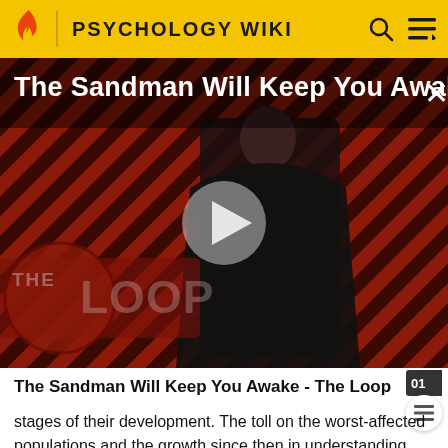PSYCHOLOGY WIKI
[Figure (screenshot): Video thumbnail for 'The Sandman Will Keep You Awake...' showing a figure in dark clothing against a red and black diagonal stripe background with THE LOOP logo watermark and a play button overlay. An X close button is in the top right.]
The Sandman Will Keep You Awake - The Loop
stages of their development. The toll on the worst-affected populations and the growth since then in understanding about the critical threat to human health